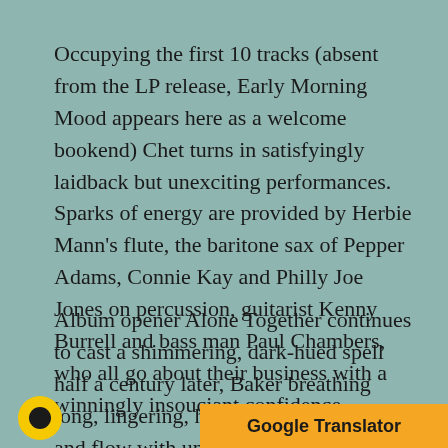Occupying the first 10 tracks (absent from the LP release, Early Morning Mood appears here as a welcome bookend) Chet turns in satisfyingly laidback but unexciting performances. Sparks of energy are provided by Herbie Mann's flute, the baritone sax of Pepper Adams, Connie Kay and Philly Joe Jones on percussion, guitarist Kenny Burrell and bass man Paul Chambers, who all go about their business with a winningly insouciant confidence.
Album opener Alone Together continues to cast a shimmering, dark-hued spell half a century later, Baker breathing long, lingering, hypnotic lines that flex and flow with understated panache. The prevailing mood is melancholi…